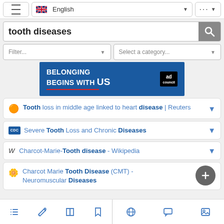[Figure (screenshot): Top navigation bar with hamburger menu, English language selector with UK flag, and more options button]
tooth diseases
[Figure (screenshot): Filter dropdown and Select a category dropdown]
[Figure (screenshot): Ad banner: BELONGING BEGINS WITH US - Ad Council]
Tooth loss in middle age linked to heart disease | Reuters
Severe Tooth Loss and Chronic Diseases
Charcot-Marie-Tooth disease - Wikipedia
Charcot Marie Tooth Disease (CMT) - Neuromuscular Diseases
[Figure (screenshot): Bottom navigation bar with list, edit, book, bookmark, globe, chat, and image icons]